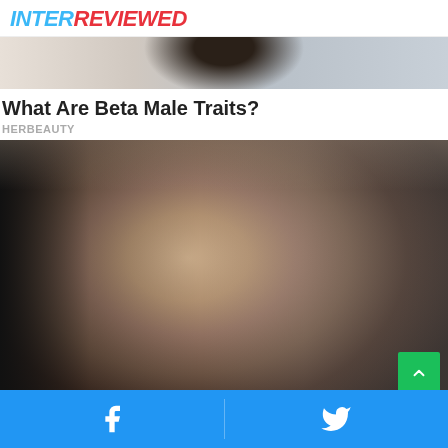INTERREVIEWED
[Figure (photo): Partial photo of a dark-haired woman, top portion cropped]
What Are Beta Male Traits?
HERBEAUTY
[Figure (photo): Portrait photo of a young woman with dark hair and makeup, wearing a black top, against a grey background]
[Figure (infographic): Blue bottom bar with Facebook and Twitter social sharing buttons]